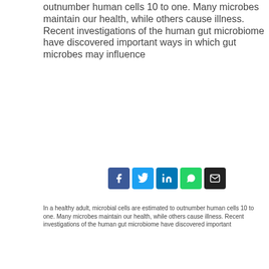outnumber human cells 10 to one. Many microbes maintain our health, while others cause illness. Recent investigations of the human gut microbiome have discovered important ways in which gut microbes may influence
[Figure (infographic): Social sharing icons row: Facebook (dark blue), Twitter (light blue), LinkedIn (teal blue), WhatsApp (green), Email (black)]
In a healthy adult, microbial cells are estimated to outnumber human cells 10 to one. Many microbes maintain our health, while others cause illness. Recent investigations of the human gut microbiome have discovered important